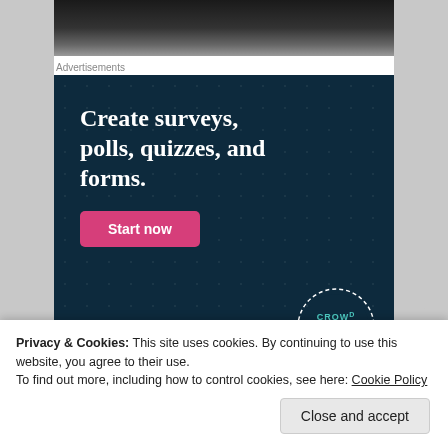[Figure (photo): Dark photo strip at top of page, partially visible, appears to show a person in dark lighting]
Advertisements
[Figure (infographic): CrowdSignal advertisement banner on dark navy background with dot pattern. Text reads: 'Create surveys, polls, quizzes, and forms.' with a pink 'Start now' button and CrowdSignal logo badge in bottom right corner.]
Privacy & Cookies: This site uses cookies. By continuing to use this website, you agree to their use.
To find out more, including how to control cookies, see here: Cookie Policy
Close and accept